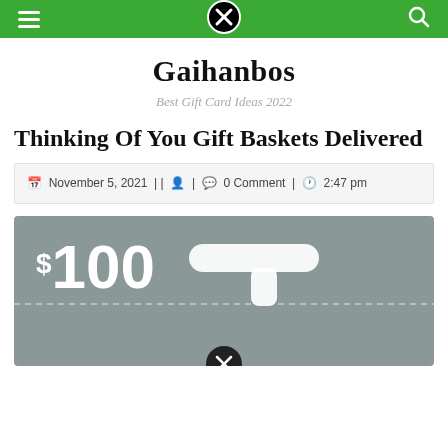Gaihanbos — navigation bar with menu, close, and search icons
Gaihanbos
Best Gift Card Ideas 2022
Thinking Of You Gift Baskets Delivered
November 5, 2021 || [user icon] | [comment icon] 0 Comment | [clock icon] 2:47 pm
[Figure (photo): Gray gift card showing $100 denomination with a white T-bar hanger clip and dashed perforation line, partially cut off at bottom]